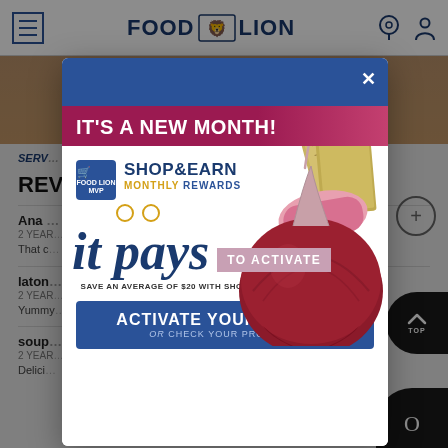[Figure (screenshot): Food Lion website screenshot showing the navigation bar with hamburger menu, Food Lion logo with lion emblem, and location/user icons on the right.]
SERV
REV
Ana
2 YEAR
That c
laton
2 YEAR
Yummy
soup
2 YEAR
Delici
[Figure (infographic): Food Lion Shop & Earn Monthly Rewards popup modal. Header: IT'S A NEW MONTH! with money/wallet image. Logo: Food Lion MVP cart icon. Text: SHOP&EARN MONTHLY REWARDS. Cursive text: it pays TO ACTIVATE. Small text: SAVE AN AVERAGE OF $20 WITH SHOP & EARN DIGITAL REWARDS. Blue button: ACTIVATE YOUR OFFERS or CHECK YOUR PROGRESS. Image of red onion prominently displayed.]